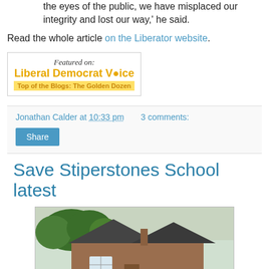the eyes of the public, we have misplaced our integrity and lost our way,' he said.
Read the whole article on the Liberator website.
[Figure (logo): Featured on: Liberal Democrat Voice - Top of the Blogs: The Golden Dozen badge]
Jonathan Calder at 10:33 pm   3 comments:
Share
Save Stiperstones School latest
[Figure (photo): Photo of Stiperstones School building, a brick building with a steep roof, surrounded by trees]